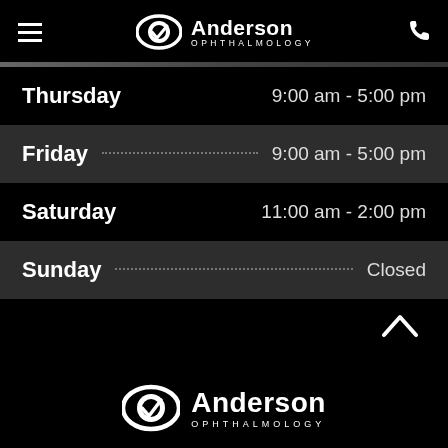Anderson Ophthalmology (header navigation)
| Day | Hours |
| --- | --- |
| Thursday | 9:00 am - 5:00 pm |
| Friday | 9:00 am - 5:00 pm |
| Saturday | 11:00 am - 2:00 pm |
| Sunday | Closed |
[Figure (logo): Anderson Ophthalmology logo at footer — eye icon with checkmark, white on black]
Anderson OPHTHALMOLOGY